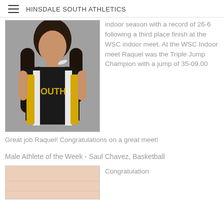HINSDALE SOUTH ATHLETICS
[Figure (photo): Female athlete wearing a black and yellow Nike track uniform with 'SOUTH' on the front, long dark hair, posing for a sports portrait.]
indoor season with a record of 26-6 following a third place finish at the WSC indoor meet. At the WSC Indoor meet Raquel was the Triple Jump Champion with a jump of 35-09.00
Great job Raquel! Congratulations on a great meet!
Male Athlete of the Week - Saul Chavez, Basketball
[Figure (photo): Partial photo of a male athlete, cropped, with a light/peach background.]
Congratulation